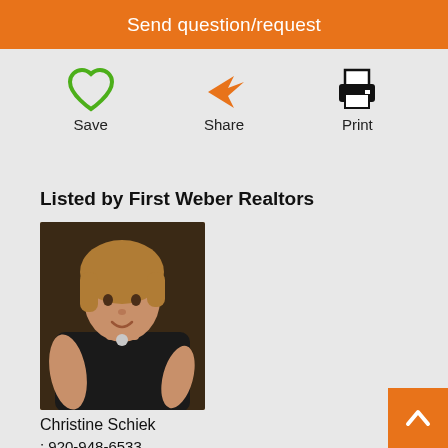Send question/request
[Figure (illustration): Save icon (green heart outline), Share icon (orange arrow), Print icon (black printer)]
Listed by First Weber Realtors
[Figure (photo): Professional headshot of Christine Schiek, a woman with shoulder-length blonde/brown hair wearing a black sleeveless top with a necklace, smiling at camera against a dark background]
Christine Schiek
: 920-948-6533
schiekc@firstweber.com
[Figure (illustration): 5 gold/green star rating icons]
120 total reviews